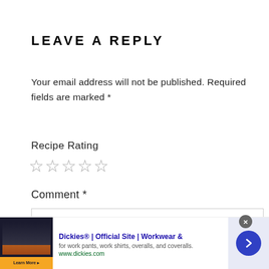LEAVE A REPLY
Your email address will not be published. Required fields are marked *
Recipe Rating
☆☆☆☆☆
Comment *
[Figure (other): Advertisement banner for Dickies showing brand image, title 'Dickies® | Official Site | Workwear &', description 'for work pants, work shirts, overalls, and coveralls.', URL 'www.dickies.com', and a navigation arrow button]